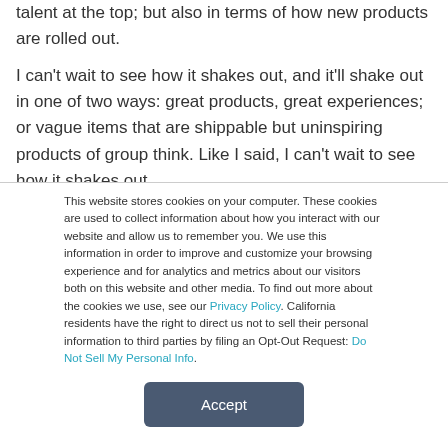talent at the top; but also in terms of how new products are rolled out.
I can't wait to see how it shakes out, and it'll shake out in one of two ways: great products, great experiences; or vague items that are shippable but uninspiring products of group think. Like I said, I can't wait to see how it shakes out.
This website stores cookies on your computer. These cookies are used to collect information about how you interact with our website and allow us to remember you. We use this information in order to improve and customize your browsing experience and for analytics and metrics about our visitors both on this website and other media. To find out more about the cookies we use, see our Privacy Policy. California residents have the right to direct us not to sell their personal information to third parties by filing an Opt-Out Request: Do Not Sell My Personal Info.